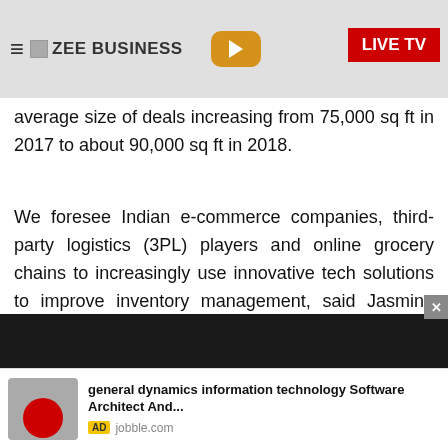ZEE BUSINESS | LIVE TV
average size of deals increasing from 75,000 sq ft in 2017 to about 90,000 sq ft in 2018.
We foresee Indian e-commerce companies, third-party logistics (3PL) players and online grocery chains to increasingly use innovative tech solutions to improve inventory management, said Jasmine Singh, Senior Executive Director Advisory and Transaction Services, India, CBRE.
Watch This Zee Business Video
[Figure (screenshot): Video thumbnail - dark background]
[Figure (screenshot): Ad banner: general dynamics information technology Software Architect And... jobble.com]